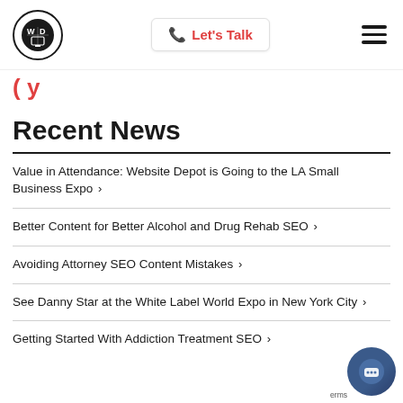Website Depot logo | Let's Talk | Menu
( y
Recent News
Value in Attendance: Website Depot is Going to the LA Small Business Expo >
Better Content for Better Alcohol and Drug Rehab SEO >
Avoiding Attorney SEO Content Mistakes >
See Danny Star at the White Label World Expo in New York City >
Getting Started With Addiction Treatment SEO >